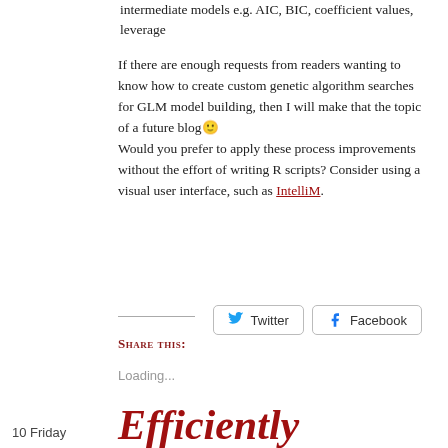intermediate models e.g. AIC, BIC, coefficient values, leverage
If there are enough requests from readers wanting to know how to create custom genetic algorithm searches for GLM model building, then I will make that the topic of a future blog 🙂 Would you prefer to apply these process improvements without the effort of writing R scripts? Consider using a visual user interface, such as IntelliM.
Share this:
Loading...
10 Friday
Efficiently